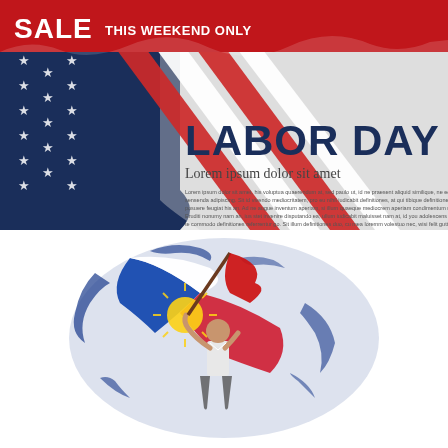[Figure (illustration): Labor Day sale banner with US flag motif, red background top-left with 'SALE THIS WEEKEND ONLY' text, diagonal red and white stripes, blue field with stars, right side has light gray/white torn paper effect background with 'LABOR DAY' large text, 'Lorem ipsum dolor sit amet' subheading, and small Lorem ipsum body text paragraphs.]
[Figure (illustration): Philippine Labor Day illustration: a man in white shirt holding a large red flag/banner aloft, standing in front of a stylized Philippine flag (blue, red, white with sun and stars) rendered as a brushstroke graphic on white background.]